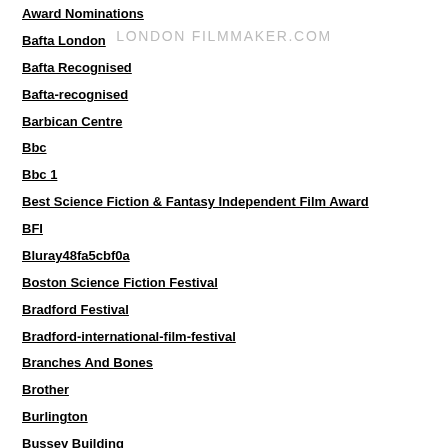LONDON FILMMAKER.COM
Award Nominations
Bafta London
Bafta Recognised
Bafta-recognised
Barbican Centre
Bbc
Bbc 1
Best Science Fiction & Fantasy Independent Film Award
BFI
Bluray48fa5cbf0a
Boston Science Fiction Festival
Bradford Festival
Bradford-international-film-festival
Branches And Bones
Brother
Burlington
Bussey Building
Cape Town